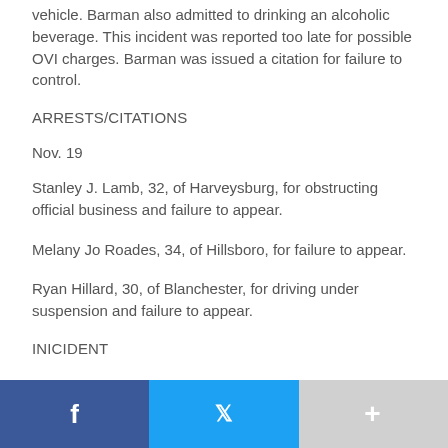vehicle. Barman also admitted to drinking an alcoholic beverage. This incident was reported too late for possible OVI charges. Barman was issued a citation for failure to control.
ARRESTS/CITATIONS
Nov. 19
Stanley J. Lamb, 32, of Harveysburg, for obstructing official business and failure to appear.
Melany Jo Roades, 34, of Hillsboro, for failure to appear.
Ryan Hillard, 30, of Blanchester, for driving under suspension and failure to appear.
INICIDENT
On Nov. 15 the police department responded to Walmart on